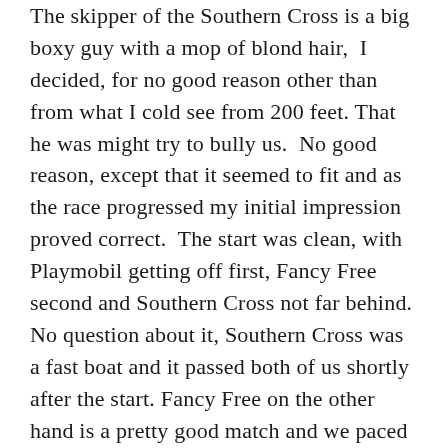The skipper of the Southern Cross is a big boxy guy with a mop of blond hair,  I decided, for no good reason other than from what I cold see from 200 feet. That he was might try to bully us.  No good reason, except that it seemed to fit and as the race progressed my initial impression proved correct.  The start was clean, with Playmobil getting off first, Fancy Free second and Southern Cross not far behind. No question about it, Southern Cross was a fast boat and it passed both of us shortly after the start. Fancy Free on the other hand is a pretty good match and we paced each other until nightfall.